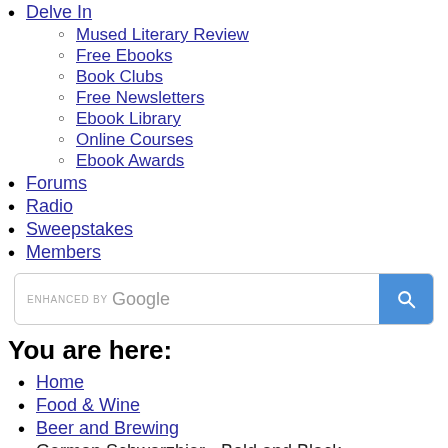Delve In
Mused Literary Review
Free Ebooks
Book Clubs
Free Newsletters
Ebook Library
Online Courses
Ebook Awards
Forums
Radio
Sweepstakes
Members
[Figure (screenshot): Google enhanced search bar with blue search button]
You are here:
Home
Food & Wine
Beer and Brewing
German Schwarzbier - Bold and Black
German Schwarzbier - Bold and Black